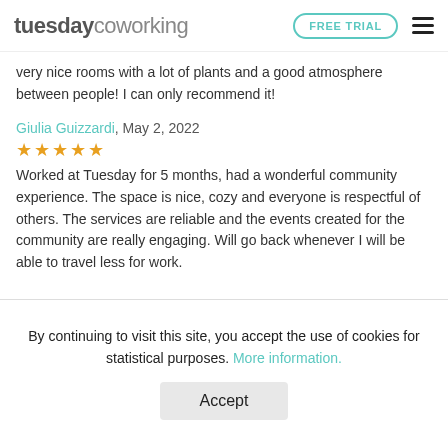tuesdaycoworking — FREE TRIAL
very nice rooms with a lot of plants and a good atmosphere between people! I can only recommend it!
Giulia Guizzardi, May 2, 2022
★★★★★
Worked at Tuesday for 5 months, had a wonderful community experience. The space is nice, cozy and everyone is respectful of others. The services are reliable and the events created for the community are really engaging. Will go back whenever I will be able to travel less for work.
By continuing to visit this site, you accept the use of cookies for statistical purposes. More information.
Accept